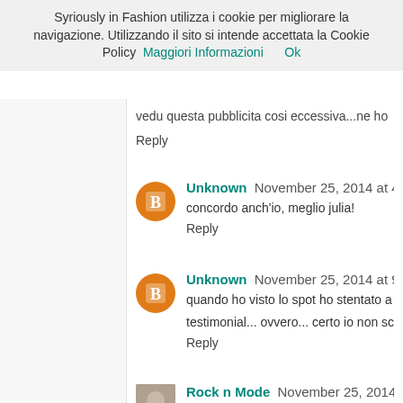Syriously in Fashion utilizza i cookie per migliorare la navigazione. Utilizzando il sito si intende accettata la Cookie Policy  Maggiori Informazioni    Ok
vedu questa pubblicita cosi eccessiva...ne ho
Reply
Unknown November 25, 2014 at 4:55 PM
concordo anch'io, meglio julia!
Reply
Unknown November 25, 2014 at 9:38 PM
quando ho visto lo spot ho stentato a riconos... testimonial... ovvero... certo io non sceglierò i...
Reply
Rock n Mode November 25, 2014 at 10:37 PM